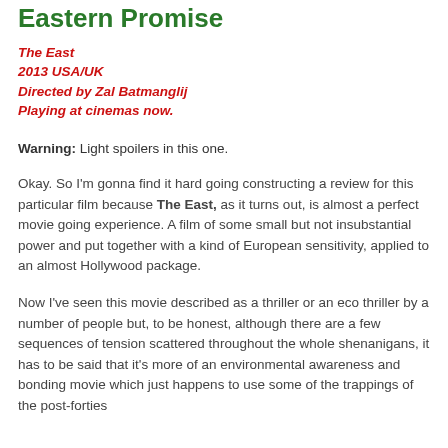Eastern Promise
The East
2013 USA/UK
Directed by Zal Batmanglij
Playing at cinemas now.
Warning: Light spoilers in this one.
Okay. So I'm gonna find it hard going constructing a review for this particular film because The East, as it turns out, is almost a perfect movie going experience. A film of some small but not insubstantial power and put together with a kind of European sensitivity, applied to an almost Hollywood package.
Now I've seen this movie described as a thriller or an eco thriller by a number of people but, to be honest, although there are a few sequences of tension scattered throughout the whole shenanigans, it has to be said that it's more of an environmental awareness and bonding movie which just happens to use some of the trappings of the post-forties